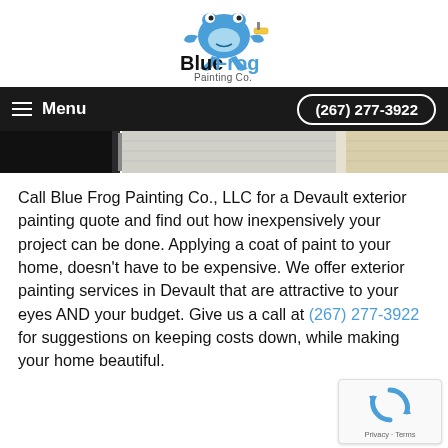[Figure (logo): Blue Frog Painting Co. logo with a blue cartoon frog holding a paint roller, text reads 'BlueFrog Painting Co.']
Menu   (267) 277-3922
[Figure (photo): Partial photo of a building exterior showing dark window frame and light-colored siding/trim]
Call Blue Frog Painting Co., LLC for a Devault exterior painting quote and find out how inexpensively your project can be done. Applying a coat of paint to your home, doesn't have to be expensive. We offer exterior painting services in Devault that are attractive to your eyes AND your budget. Give us a call at (267) 277-3922 for suggestions on keeping costs down, while making your home beautiful.